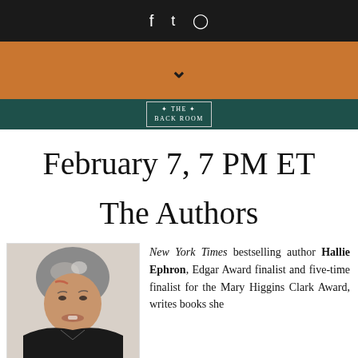f  twitter  instagram (social media icons)
[Figure (logo): Orange banner with chevron down icon, followed by teal bar with 'THE BACK ROOM' logo text in white bordered box]
February 7, 7 PM ET
The Authors
[Figure (photo): Portrait photo of a woman with short gray hair, smiling, wearing dark clothing, against a light background]
New York Times bestselling author Hallie Ephron, Edgar Award finalist and five-time finalist for the Mary Higgins Clark Award, writes books she